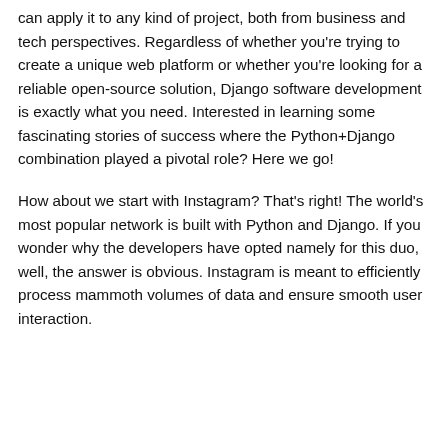can apply it to any kind of project, both from business and tech perspectives. Regardless of whether you're trying to create a unique web platform or whether you're looking for a reliable open-source solution, Django software development is exactly what you need. Interested in learning some fascinating stories of success where the Python+Django combination played a pivotal role? Here we go!
How about we start with Instagram? That's right! The world's most popular network is built with Python and Django. If you wonder why the developers have opted namely for this duo, well, the answer is obvious. Instagram is meant to efficiently process mammoth volumes of data and ensure smooth user interaction.